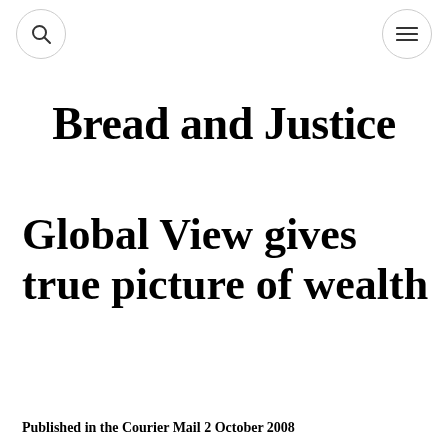[search icon] [menu icon]
Bread and Justice
Global View gives true picture of wealth
Published in the Courier Mail 2 October 2008